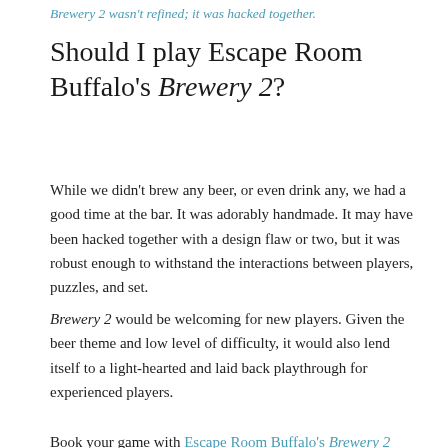Brewery 2 wasn't refined; it was hacked together.
Should I play Escape Room Buffalo's Brewery 2?
While we didn't brew any beer, or even drink any, we had a good time at the bar. It was adorably handmade. It may have been hacked together with a design flaw or two, but it was robust enough to withstand the interactions between players, puzzles, and set.
Brewery 2 would be welcoming for new players. Given the beer theme and low level of difficulty, it would also lend itself to a light-hearted and laid back playthrough for experienced players.
Book your game with Escape Room Buffalo's Brewery 2